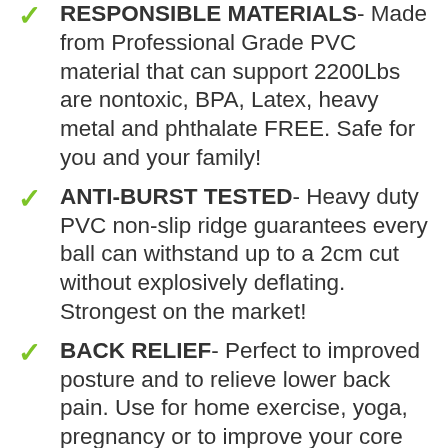RESPONSIBLE MATERIALS- Made from Professional Grade PVC material that can support 2200Lbs are nontoxic, BPA, Latex, heavy metal and phthalate FREE. Safe for you and your family!
ANTI-BURST TESTED- Heavy duty PVC non-slip ridge guarantees every ball can withstand up to a 2cm cut without explosively deflating. Strongest on the market!
BACK RELIEF- Perfect to improved posture and to relieve lower back pain. Use for home exercise, yoga, pregnancy or to improve your core strength. Great for desk chair replacements!